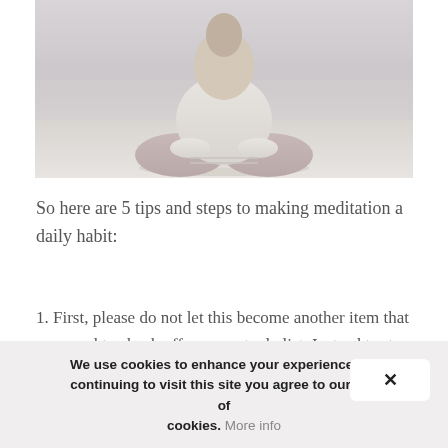[Figure (photo): Person sitting in lotus meditation pose on a beach/waterfront, wearing a light grey sweater and mauve/pink pants, with a meditation cushion in front, ocean waves in background, soft muted tones]
So here are 5 tips and steps to making meditation a daily habit:
1. First, please do not let this become another item that you need to check off on your to do list. Instead try to look at it as a moment of serenity you're giving yourself
We use cookies to enhance your experience. By continuing to visit this site you agree to our use of cookies. More info